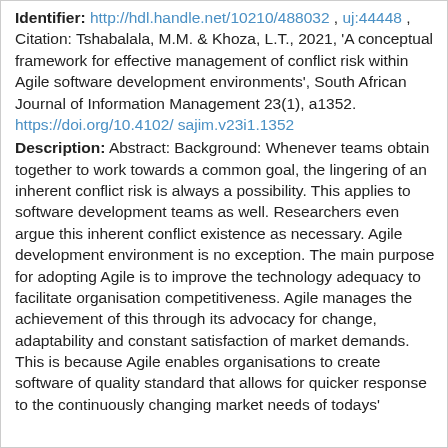Identifier: http://hdl.handle.net/10210/488032 , uj:44448 , Citation: Tshabalala, M.M. & Khoza, L.T., 2021, 'A conceptual framework for effective management of conflict risk within Agile software development environments', South African Journal of Information Management 23(1), a1352. https://doi.org/10.4102/ sajim.v23i1.1352
Description: Abstract: Background: Whenever teams obtain together to work towards a common goal, the lingering of an inherent conflict risk is always a possibility. This applies to software development teams as well. Researchers even argue this inherent conflict existence as necessary. Agile development environment is no exception. The main purpose for adopting Agile is to improve the technology adequacy to facilitate organisation competitiveness. Agile manages the achievement of this through its advocacy for change, adaptability and constant satisfaction of market demands. This is because Agile enables organisations to create software of quality standard that allows for quicker response to the continuously changing market needs of todays'